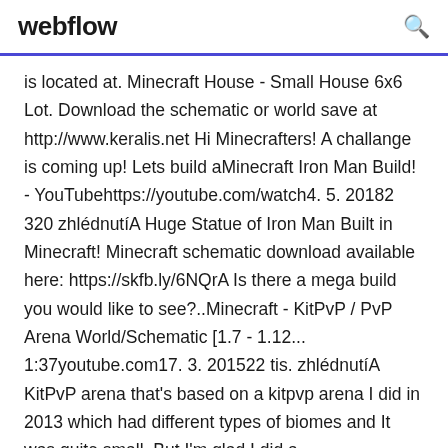webflow
is located at. Minecraft House - Small House 6x6 Lot. Download the schematic or world save at http://www.keralis.net Hi Minecrafters! A challange is coming up! Lets build aMinecraft Iron Man Build! - YouTubehttps://youtube.com/watch4. 5. 20182 320 zhlédnutíA Huge Statue of Iron Man Built in Minecraft! Minecraft schematic download available here: https://skfb.ly/6NQrA Is there a mega build you would like to see?..Minecraft - KitPvP / PvP Arena World/Schematic [1.7 - 1.12... 1:37youtube.com17. 3. 201522 tis. zhlédnutíA KitPvP arena that's based on a kitpvp arena I did in 2013 which had different types of biomes and It was quite small. But I'm glad I did a